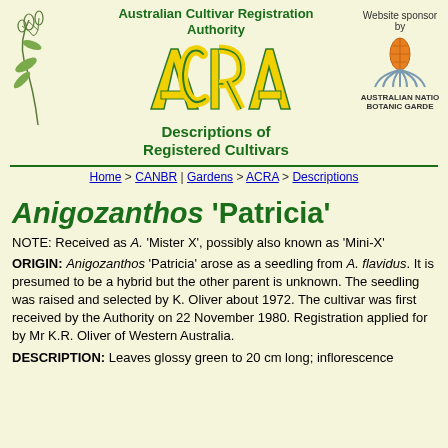Australian Cultivar Registration Authority
[Figure (illustration): Line illustration of a plant branch with leaves and seed pods]
[Figure (logo): ACRA logo in yellow and green triangular letters]
Descriptions of Registered Cultivars
[Figure (logo): Australian National Botanic Gardens logo with orange seed pod]
Website sponsored by
AUSTRALIAN NATIONAL BOTANIC GARDENS
Home > CANBR | Gardens > ACRA > Descriptions
Anigozanthos 'Patricia'
NOTE: Received as A. 'Mister X', possibly also known as 'Mini-X'
ORIGIN: Anigozanthos 'Patricia' arose as a seedling from A. flavidus. It is presumed to be a hybrid but the other parent is unknown. The seedling was raised and selected by K. Oliver about 1972. The cultivar was first received by the Authority on 22 November 1980. Registration applied for by Mr K.R. Oliver of Western Australia.
DESCRIPTION: Leaves glossy green to 20 cm long; inflorescence